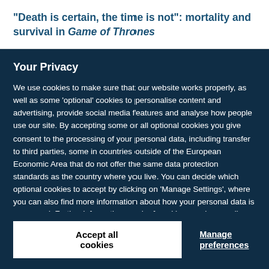"Death is certain, the time is not": mortality and survival in Game of Thrones
Your Privacy
We use cookies to make sure that our website works properly, as well as some ‘optional’ cookies to personalise content and advertising, provide social media features and analyse how people use our site. By accepting some or all optional cookies you give consent to the processing of your personal data, including transfer to third parties, some in countries outside of the European Economic Area that do not offer the same data protection standards as the country where you live. You can decide which optional cookies to accept by clicking on ‘Manage Settings’, where you can also find more information about how your personal data is processed. Further information can be found in our privacy policy.
Accept all cookies
Manage preferences